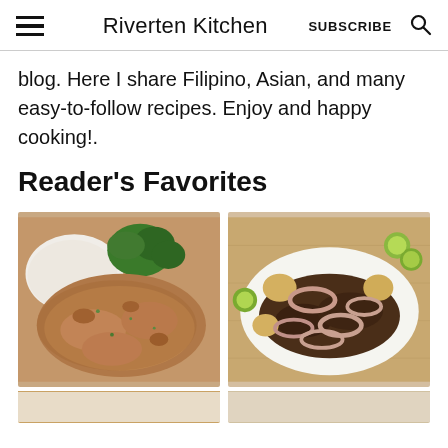Riverten Kitchen  SUBSCRIBE
blog. Here I share Filipino, Asian, and many easy-to-follow recipes. Enjoy and happy cooking!.
Reader's Favorites
[Figure (photo): A plate of chicken or meat in creamy mushroom gravy served with white rice and steamed broccoli]
[Figure (photo): A white oval serving dish with beef slices topped with onion rings and potatoes on a wooden cutting board, with calamansi citrus halves on the side]